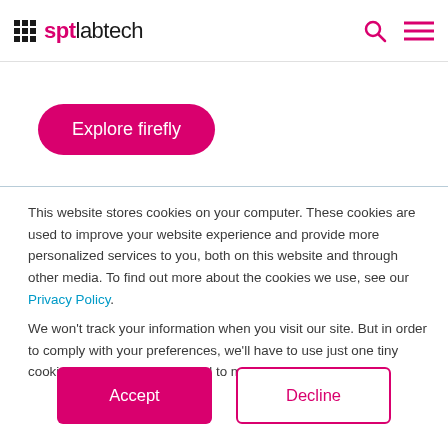sptlabtech
[Figure (logo): sptlabtech logo with grid icon and search/menu icons]
Explore firefly
This website stores cookies on your computer. These cookies are used to improve your website experience and provide more personalized services to you, both on this website and through other media. To find out more about the cookies we use, see our Privacy Policy.
We won't track your information when you visit our site. But in order to comply with your preferences, we'll have to use just one tiny cookie so that you're not asked to make this choice again.
Accept | Decline